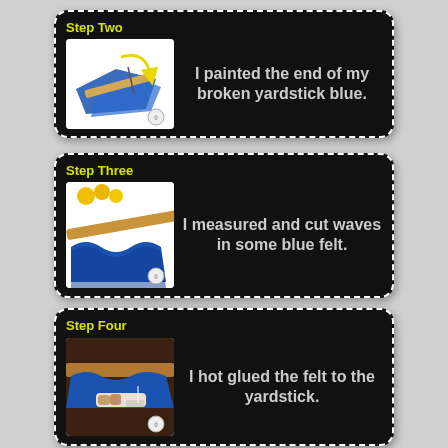[Figure (infographic): Step Two card: illustration of a broken yardstick being painted blue with text 'I painted the end of my broken yardstick blue.']
[Figure (infographic): Step Three card: photo of blue felt with waves being cut, with text 'I measured and cut waves in some blue felt.']
[Figure (infographic): Step Four card: photo of felt being hot glued to yardstick, with text 'I hot glued the felt to the yardstick.']